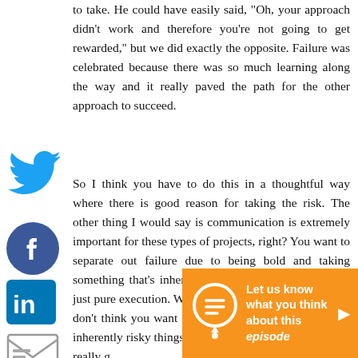to take. He could have easily said, "Oh, your approach didn't work and therefore you're not going to get rewarded," but we did exactly the opposite. Failure was celebrated because there was so much learning along the way and it really paved the path for the other approach to succeed.
So I think you have to do this in a thoughtful way where there is good reason for taking the risk. The other thing I would say is communication is extremely important for these types of projects, right? You want to separate out failure due to being bold and taking something that's inherently risky versus failure due to just pure execution. We don't want poor execution and I don't think you want to tolerate that and I think... But inherently risky things need to really go communic What a
[Figure (illustration): Twitter bird social media icon in blue]
[Figure (illustration): Facebook circular social media icon in blue]
[Figure (illustration): LinkedIn square social media icon in blue]
[Figure (illustration): Email envelope icon]
[Figure (illustration): Pocket save icon in dark red/maroon]
[Figure (infographic): Orange CTA banner with speech bubble icon and text: Let us know what you think about this episode, with a play arrow button]